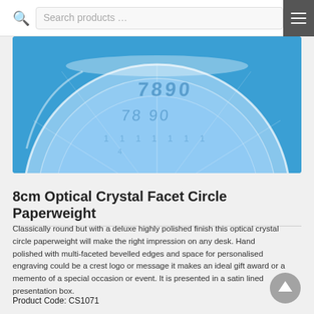Search products …
[Figure (photo): Close-up photo of an optical crystal facet circle paperweight on a blue background, showing engraved numbers through the transparent crystal surface.]
8cm Optical Crystal Facet Circle Paperweight
Classically round but with a deluxe highly polished finish this optical crystal circle paperweight will make the right impression on any desk. Hand polished with multi-faceted bevelled edges and space for personalised engraving could be a crest logo or message it makes an ideal gift award or a memento of a special occasion or event. It is presented in a satin lined presentation box.
Product Code: CS1071